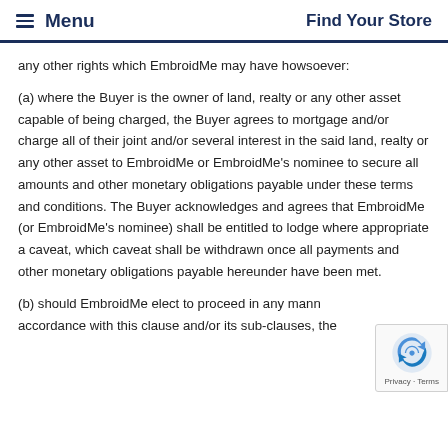≡ Menu   Find Your Store
any other rights which EmbroidMe may have howsoever:
(a) where the Buyer is the owner of land, realty or any other asset capable of being charged, the Buyer agrees to mortgage and/or charge all of their joint and/or several interest in the said land, realty or any other asset to EmbroidMe or EmbroidMe's nominee to secure all amounts and other monetary obligations payable under these terms and conditions. The Buyer acknowledges and agrees that EmbroidMe (or EmbroidMe's nominee) shall be entitled to lodge where appropriate a caveat, which caveat shall be withdrawn once all payments and other monetary obligations payable hereunder have been met.
(b) should EmbroidMe elect to proceed in any manner in accordance with this clause and/or its sub-clauses, the